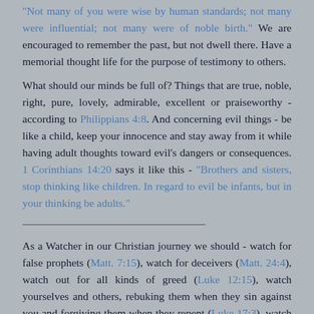"Not many of you were wise by human standards; not many were influential; not many were of noble birth." We are encouraged to remember the past, but not dwell there. Have a memorial thought life for the purpose of testimony to others.
What should our minds be full of? Things that are true, noble, right, pure, lovely, admirable, excellent or praiseworthy - according to Philippians 4:8. And concerning evil things - be like a child, keep your innocence and stay away from it while having adult thoughts toward evil's dangers or consequences. 1 Corinthians 14:20 says it like this - "Brothers and sisters, stop thinking like children. In regard to evil be infants, but in your thinking be adults."
As a Watcher in our Christian journey we should - watch for false prophets (Matt. 7:15), watch for deceivers (Matt. 24:4), watch out for all kinds of greed (Luke 12:15), watch yourselves and others, rebuking them when they sin against you and forgiving them when they repent (Luke 17:3), watch over yourselves and the flock (Acts...